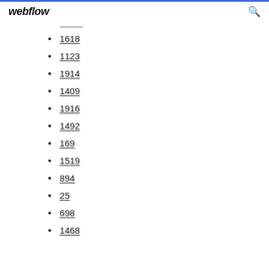webflow
1618
1123
1914
1409
1916
1492
169
1519
894
25
698
1468